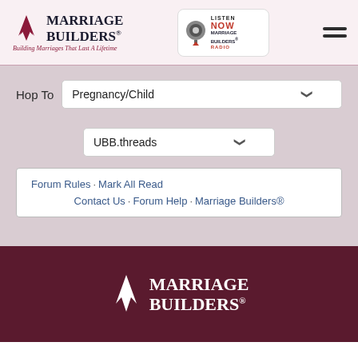[Figure (logo): Marriage Builders logo with red arrow icon and tagline 'Building Marriages That Last A Lifetime']
[Figure (logo): Marriage Builders Radio logo with microphone icon and 'Listen NOW' text]
[Figure (other): Hamburger menu icon (two horizontal dark lines)]
Hop To
Pregnancy/Child
UBB.threads
Forum Rules · Mark All Read
Contact Us · Forum Help · Marriage Builders®
[Figure (logo): Marriage Builders white logo on dark maroon footer background]